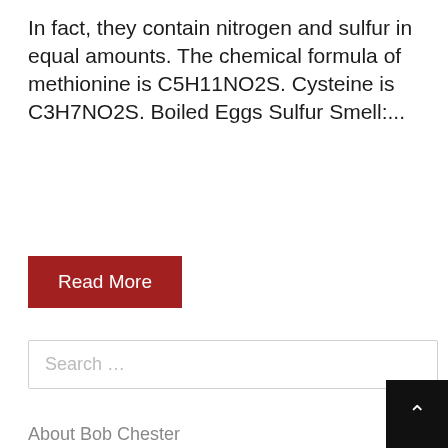In fact, they contain nitrogen and sulfur in equal amounts. The chemical formula of methionine is C5H11NO2S. Cysteine is C3H7NO2S. Boiled Eggs Sulfur Smell:...
Read More
Search ...
About Bob Chester
About Ellen Fenwick
About Vince Summers